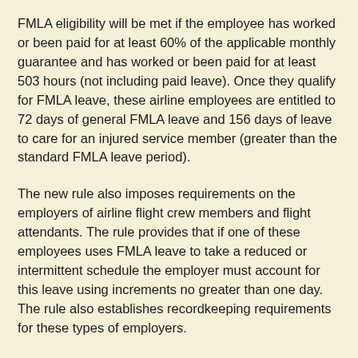FMLA eligibility will be met if the employee has worked or been paid for at least 60% of the applicable monthly guarantee and has worked or been paid for at least 503 hours (not including paid leave). Once they qualify for FMLA leave, these airline employees are entitled to 72 days of general FMLA leave and 156 days of leave to care for an injured service member (greater than the standard FMLA leave period).
The new rule also imposes requirements on the employers of airline flight crew members and flight attendants. The rule provides that if one of these employees uses FMLA leave to take a reduced or intermittent schedule the employer must account for this leave using increments no greater than one day. The rule also establishes recordkeeping requirements for these types of employers.
By Jessica B. Summers, Associate
First Published: The Law Firm of Paley Rothman Law Blog